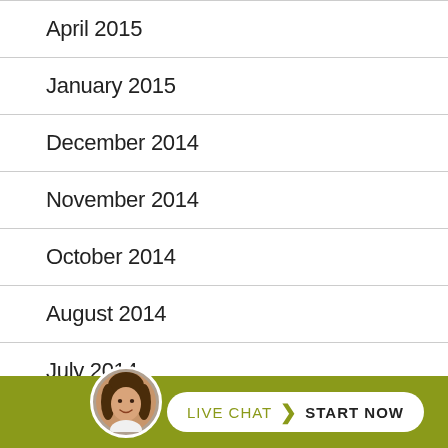April 2015
January 2015
December 2014
November 2014
October 2014
August 2014
July 2014
[Figure (infographic): Live chat bar with avatar photo of a woman, and a white rounded button with text LIVE CHAT > START NOW on an olive/green background]